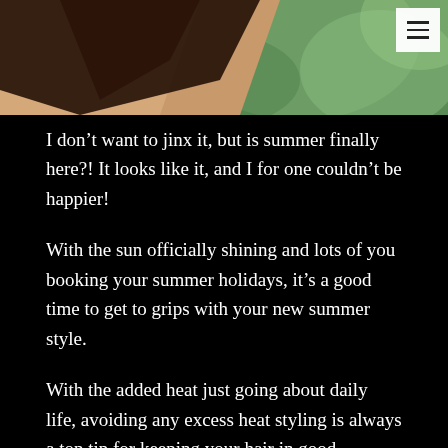[Figure (photo): Close-up photo of a person with dark hair against a green background, partially visible from shoulder up. A hamburger menu icon appears in the top-right corner.]
I don't want to jinx it, but is summer finally here?! It looks like it, and I for one couldn't be happier!
With the sun officially shining and lots of you booking your summer holidays, it's a good time to get to grips with your new summer style.
With the added heat just going about daily life, avoiding any excess heat styling is always a top tip for keeping your hair in good condition, and also when it comes to skin caking on the makeup as those rays beat down is one sure fire way to break out when you want it the least. But don't worry, this doesn't mean you have to adopt frizzy hair and makeup free